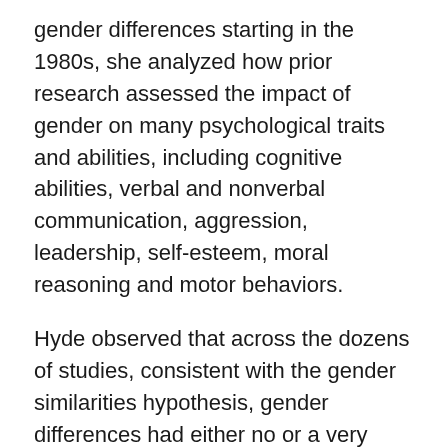gender differences starting in the 1980s, she analyzed how prior research assessed the impact of gender on many psychological traits and abilities, including cognitive abilities, verbal and nonverbal communication, aggression, leadership, self-esteem, moral reasoning and motor behaviors.
Hyde observed that across the dozens of studies, consistent with the gender similarities hypothesis, gender differences had either no or a very small effect on most of the psychological variables examined. Only a few main differences appeared: Compared with women, men could throw farther, were more physically aggressive, masturbated more, and held more positive attitudes about sex in uncommitted relationships.
Furthermore, Hyde found that gender differences seem to